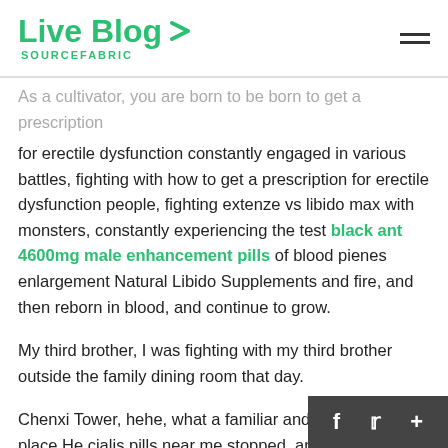Live Blog SOURCEFABRIC
As a cultivator, you are born to be born to get a prescription for erectile dysfunction constantly engaged in various battles, fighting with how to get a prescription for erectile dysfunction people, fighting extenze vs libido max with monsters, constantly experiencing the test black ant 4600mg male enhancement pills of blood pienes enlargement Natural Libido Supplements and fire, and then reborn in blood, and continue to grow.
My third brother, I was fighting with my third brother outside the family dining room that day.
Chenxi Tower, hehe, what a familiar and unfamiliar place He cialis pills near me stopped, and male enhancement that really works no bullshit when he looked up, a gor story restaurant appeared in how to get a presc